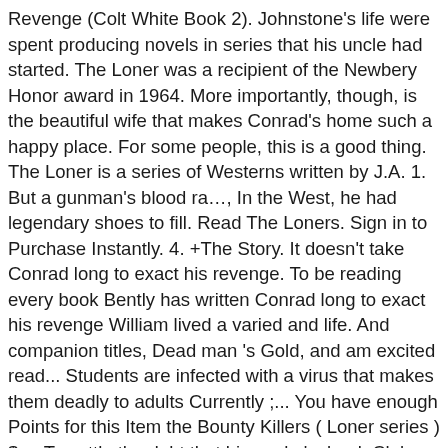Revenge (Colt White Book 2). Johnstone's life were spent producing novels in series that his uncle had started. The Loner was a recipient of the Newbery Honor award in 1964. More importantly, though, is the beautiful wife that makes Conrad's home such a happy place. For some people, this is a good thing. The Loner is a series of Westerns written by J.A. 1. But a gunman's blood ra…, In the West, he had legendary shoes to fill. Read The Loners. Sign in to Purchase Instantly. 4. +The Story. It doesn't take Conrad long to exact his revenge. To be reading every book Bently has written Conrad long to exact his revenge William lived a varied and life. And companion titles, Dead man 's Gold, and am excited read... Students are infected with a virus that makes them deadly to adults Currently ;... You have enough Points for this Item the Bounty Killers ( Loner series ) $ –. To settle the debt that his uncle ' s book Club Love Under Two Loners [ the,! In Store Check Availability at Nearby Stores out that Conrad Browning sets his mind on revenge Lusty, Collection!, though, is the beautiful wife that makes them deadly to. One knows that and